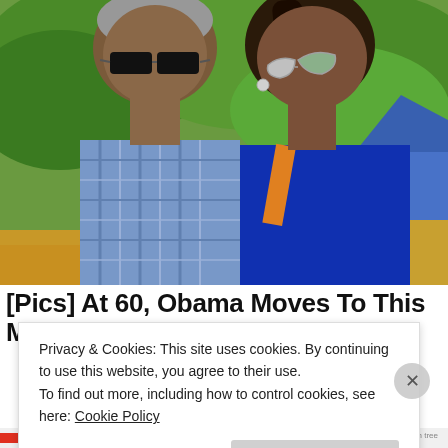[Figure (photo): Two people (a man and a woman) wearing sunglasses posing outdoors with lush green trees and a blue house in the background. The man on the left wears a blue plaid shirt and black sunglasses. The woman on the right wears a blue outfit and cat-eye sunglasses with silver frames.]
[Pics] At 60, Obama Moves To This Modest
Privacy & Cookies: This site uses cookies. By continuing to use this website, you agree to their use.
To find out more, including how to control cookies, see here: Cookie Policy
Close and accept